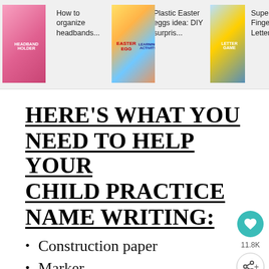[Figure (screenshot): Website top banner showing four content items: 'How to organize headbands...', 'Plastic Easter eggs idea: DIY surpris...', 'Super Fu... Finge... bo... Letter Ga...' with thumbnail images]
HERE'S WHAT YOU NEED TO HELP YOUR CHILD PRACTICE NAME WRITING:
Construction paper
Marker
Laminating sheets (or a